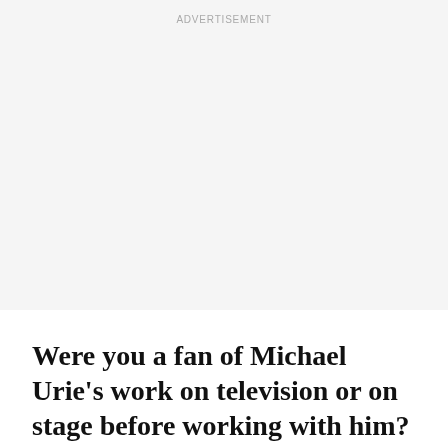ADVERTISEMENT
Were you a fan of Michael Urie’s work on television or on stage before working with him?